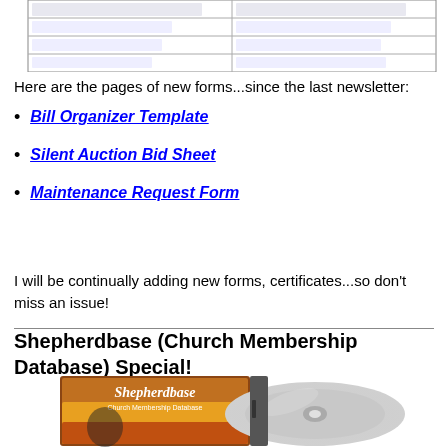[Figure (table-as-image): Partial view of a form table with columns and rows, cropped at top]
Here are the pages of new forms...since the last newsletter:
Bill Organizer Template
Silent Auction Bid Sheet
Maintenance Request Form
I will be continually adding new forms, certificates...so don't miss an issue!
Shepherdbase (Church Membership Database) Special!
[Figure (photo): Photo of Shepherdbase Church Membership Database software CD/DVD case and disc]